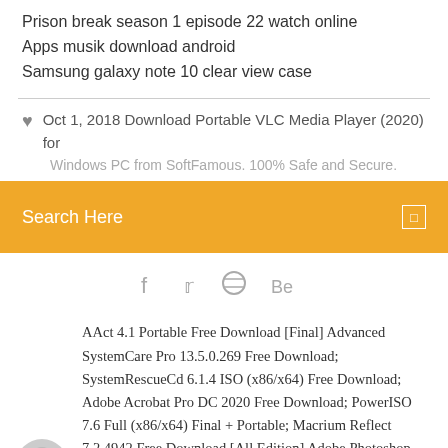Prison break season 1 episode 22 watch online
Apps musik download android
Samsung galaxy note 10 clear view case
Oct 1, 2018 Download Portable VLC Media Player (2020) for
Windows PC from SoftFamous. 100% Safe and Secure. Free
Search Here
[Figure (infographic): Social media icons: Facebook (f), Twitter (bird), Dribbble (ball), Behance (Be)]
AAct 4.1 Portable Free Download [Final] Advanced SystemCare Pro 13.5.0.269 Free Download; SystemRescueCd 6.1.4 ISO (x86/x64) Free Download; Adobe Acrobat Pro DC 2020 Free Download; PowerISO 7.6 Full (x86/x64) Final + Portable; Macrium Reflect 7.2.4942 Free Download [All Edition] Adobe Photoshop 2020 v21.1.3.190 Free Download